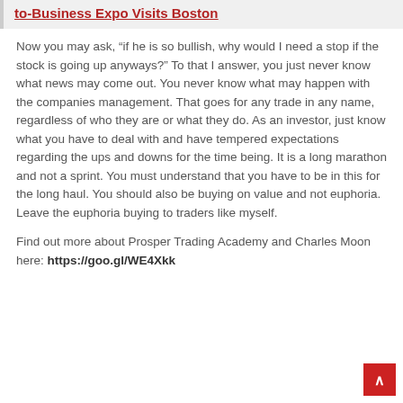to-Business Expo Visits Boston
Now you may ask, “if he is so bullish, why would I need a stop if the stock is going up anyways?” To that I answer, you just never know what news may come out. You never know what may happen with the companies management. That goes for any trade in any name, regardless of who they are or what they do. As an investor, just know what you have to deal with and have tempered expectations regarding the ups and downs for the time being. It is a long marathon and not a sprint. You must understand that you have to be in this for the long haul. You should also be buying on value and not euphoria. Leave the euphoria buying to traders like myself.
Find out more about Prosper Trading Academy and Charles Moon here: https://goo.gl/WE4Xkk